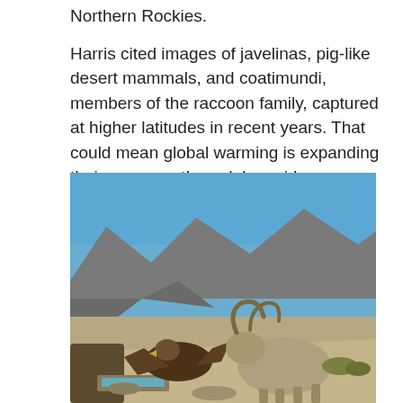Northern Rockies.
Harris cited images of javelinas, pig-like desert mammals, and coatimundi, members of the raccoon family, captured at higher latitudes in recent years. That could mean global warming is expanding their range northward, he said.
[Figure (photo): A desert wildlife camera trap image showing a bighorn sheep or similar horned animal facing off with a large bird (possibly a golden eagle or vulture) near a water trough, with rocky desert mountains and blue sky in the background.]